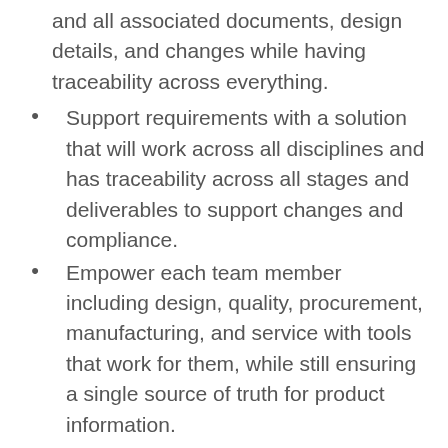and all associated documents, design details, and changes while having traceability across everything.
Support requirements with a solution that will work across all disciplines and has traceability across all stages and deliverables to support changes and compliance.
Empower each team member including design, quality, procurement, manufacturing, and service with tools that work for them, while still ensuring a single source of truth for product information.
Support quality management with traceability from requirements to test and reporting tools to ensure monitoring of trends that impact quality.